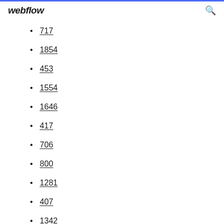webflow
717
1854
453
1554
1646
417
706
800
1281
407
1342
51